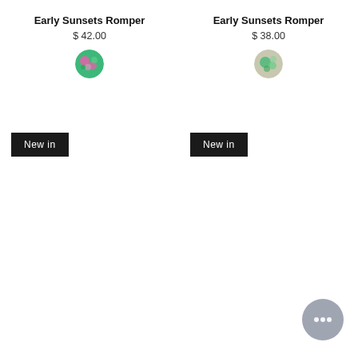Early Sunsets Romper
$ 42.00
[Figure (photo): Circular color swatch showing a green and pink floral fabric pattern]
New in
Early Sunsets Romper
$ 38.00
[Figure (photo): Circular color swatch showing a green floral fabric pattern]
New in
[Figure (other): Chat support button - grey circular button with three dots]